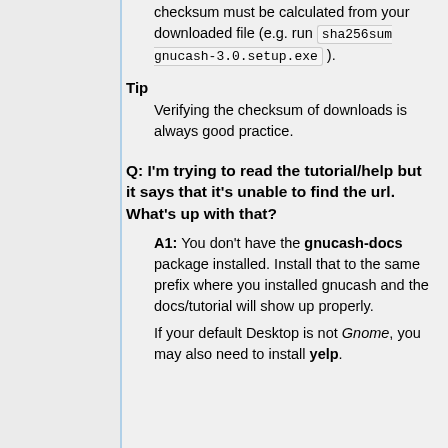checksum must be calculated from your downloaded file (e.g. run sha256sum gnucash-3.0.setup.exe ).
Tip
Verifying the checksum of downloads is always good practice.
Q: I'm trying to read the tutorial/help but it says that it's unable to find the url. What's up with that?
A1: You don't have the gnucash-docs package installed. Install that to the same prefix where you installed gnucash and the docs/tutorial will show up properly.
If your default Desktop is not Gnome, you may also need to install yelp.